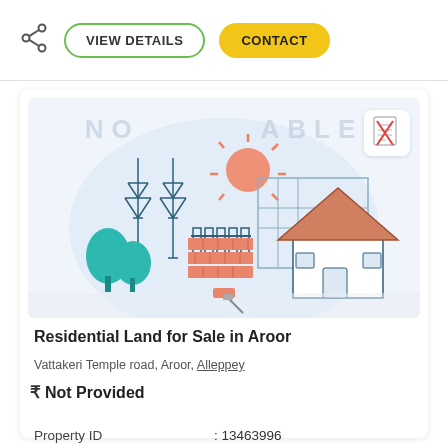[Figure (screenshot): Share icon]
VIEW DETAILS
CONTACT
[Figure (illustration): Property listing illustration showing a house under construction with trees, bricks, a sun and transmission towers. Watermark text 'NO PHOTO AVAILABLE' overlaid. Small document icon with red cross in top right corner.]
Residential Land for Sale in Aroor
Vattakeri Temple road, Aroor, Alleppey
₹ Not Provided
Property ID                    : 13463996